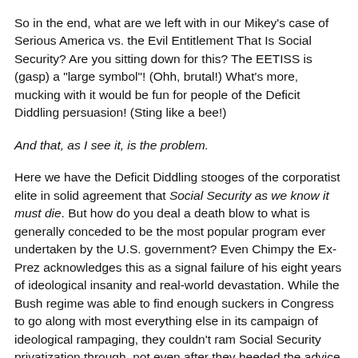So in the end, what are we left with in our Mikey's case of Serious America vs. the Evil Entitlement That Is Social Security? Are you sitting down for this? The EETISS is (gasp) a "large symbol"! (Ohh, brutal!) What's more, mucking with it would be fun for people of the Deficit Diddling persuasion! (Sting like a bee!)
And that, as I see it, is the problem.
Here we have the Deficit Diddling stooges of the corporatist elite in solid agreement that Social Security as we know it must die. But how do you deal a death blow to what is generally conceded to be the most popular program ever undertaken by the U.S. government? Even Chimpy the Ex-Prez acknowledges this as a signal failure of his eight years of ideological insanity and real-world devastation. While the Bush regime was able to find enough suckers in Congress to go along with most everything else in its campaign of ideological rampaging, they couldn't ram Social Security privatization through, not even after they heeded the advice of their consultants -- and we mustn't ever forget how much effort and money (especially money) the Right spends on